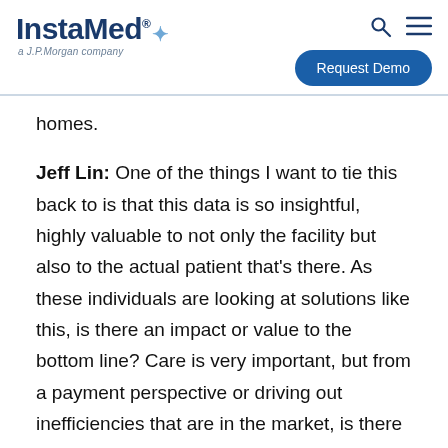InstaMed® a J.P.Morgan company | Search | Menu | Request Demo
homes.
Jeff Lin: One of the things I want to tie this back to is that this data is so insightful, highly valuable to not only the facility but also to the actual patient that's there. As these individuals are looking at solutions like this, is there an impact or value to the bottom line? Care is very important, but from a payment perspective or driving out inefficiencies that are in the market, is there some financial ROI